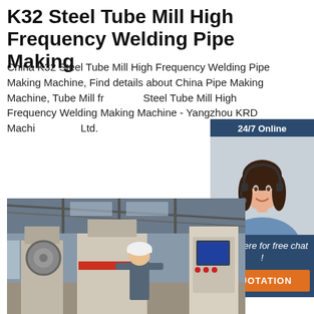K32 Steel Tube Mill High Frequency Welding Pipe Making
China K32 Steel Tube Mill High Frequency Welding Pipe Making Machine, Find details about China Pipe Making Machine, Tube Mill from Steel Tube Mill High Frequency Welding Making Machine - Yangzhou KRD Machi Ltd.
[Figure (other): Green 'Get Price' button]
[Figure (other): 24/7 Online chat widget with customer service representative photo, 'Click here for free chat!' text, and orange QUOTATION button]
[Figure (photo): Factory floor photo showing a worker in white hard hat operating steel tube mill / pipe making machinery in an industrial facility]